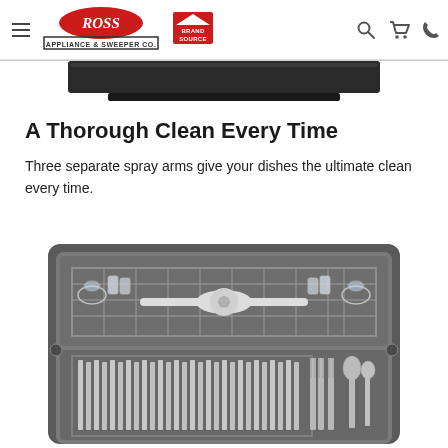Ross Appliance & Sweeper Co. | Brand Source — navigation header with hamburger menu, logos, search, cart, and phone icons
[Figure (photo): Partial top view of a black dishwasher control panel, cropped at top of page]
A Thorough Clean Every Time
Three separate spray arms give your dishes the ultimate clean every time.
[Figure (photo): Top-down interior view of a dishwasher showing the upper rack with a spray arm assembly, cups, bottles, and a lower silverware basket containing knives, forks and spoons]